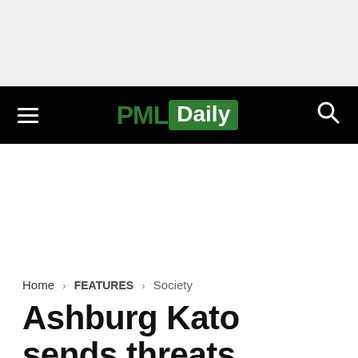[Figure (logo): PML Daily website logo — PML in dark green bold text, Daily in white bold text on green rounded rectangle background]
Home › FEATURES › Society
Ashburg Kato sends threats